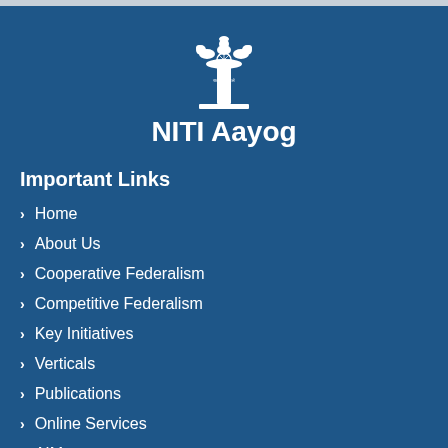[Figure (logo): Ashoka Pillar emblem of India (NITI Aayog logo) in white on blue background]
NITI Aayog
Important Links
Home
About Us
Cooperative Federalism
Competitive Federalism
Key Initiatives
Verticals
Publications
Online Services
AIM
DMEO